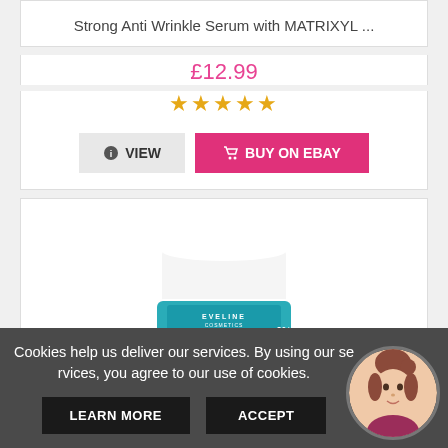Strong Anti Wrinkle Serum with MATRIXYL ...
£12.99
[Figure (other): Five gold star rating]
[Figure (screenshot): Product listing screenshot with VIEW and BUY ON EBAY buttons]
[Figure (photo): Eveline Hyaluron Expert 30+ cream-concentrate jar with teal label]
Cookies help us deliver our services. By using our services, you agree to our use of cookies.
LEARN MORE
ACCEPT